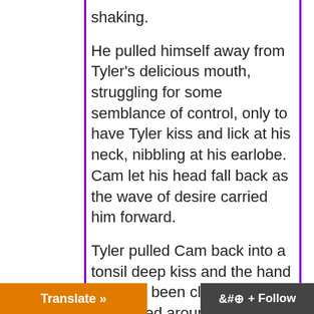shaking.
He pulled himself away from Tyler's delicious mouth, struggling for some semblance of control, only to have Tyler kiss and lick at his neck, nibbling at his earlobe. Cam let his head fall back as the wave of desire carried him forward.
Tyler pulled Cam back into a tonsil deep kiss and the hand that had been clutching at his ass drifted around to the front. When the heel of Tyler's hand pressed against his dick, Cam let out a cry and jerked